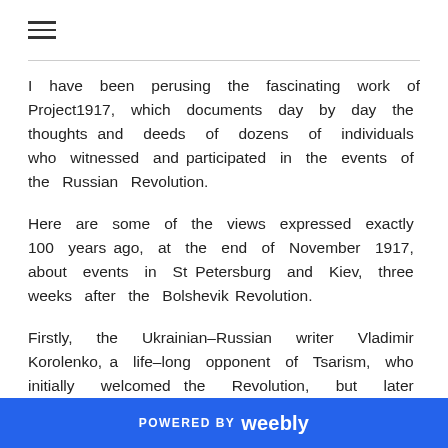≡
I have been perusing the fascinating work of Project1917, which documents day by day the thoughts and deeds of dozens of individuals who witnessed and participated in the events of the Russian Revolution.
Here are some of the views expressed exactly 100 years ago, at the end of November 1917, about events in St Petersburg and Kiev, three weeks after the Bolshevik Revolution.
Firstly, the Ukrainian–Russian writer Vladimir Korolenko, a life-long opponent of Tsarism, who initially welcomed the Revolution, but later became a critic of Bolshevik power:
POWERED BY weebly